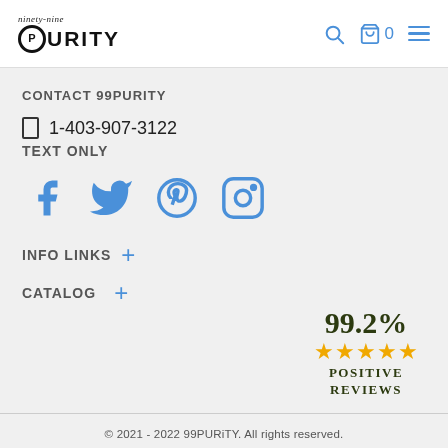ninety-nine PURITY [logo] | search icon | cart 0 | menu
CONTACT 99PURITY
📱 1-403-907-3122
TEXT ONLY
[Figure (other): Social media icons: Facebook, Twitter, Pinterest, Instagram in blue]
INFO LINKS +
CATALOG +
[Figure (infographic): 99.2% with 5 gold stars and text POSITIVE REVIEWS]
© 2021 - 2022 99PURiTY. All rights reserved.